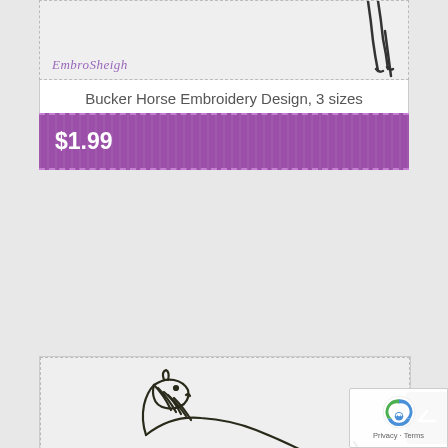[Figure (illustration): Partial view of a bucking horse embroidery design on light gray fabric background with dashed border. EmbroSheigh logo in purple script at bottom left.]
Bucker Horse Embroidery Design, 3 sizes
$1.99
[Figure (illustration): Frolic horse embroidery design showing a galloping horse in outline style on light gray fabric with dashed border. EmbroSheigh logo in purple script at bottom left.]
Frolic Horse Embroidery Design, 3 sizes